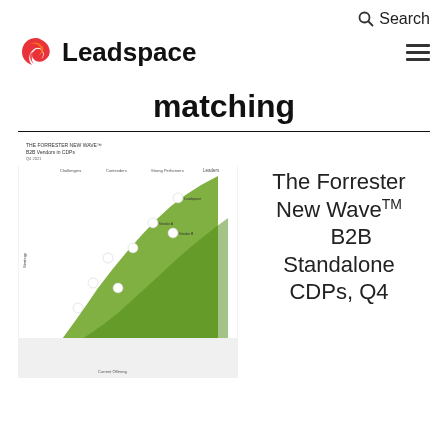Search
[Figure (logo): Leadspace logo with orange/red swirl icon and bold black text 'Leadspace']
matching
[Figure (other): The Forrester New Wave B2B Vendors in CDPs chart — a quadrant/wave chart with green shaded area and white dots representing vendor positions]
The Forrester New Wave™ B2B Standalone CDPs, Q4